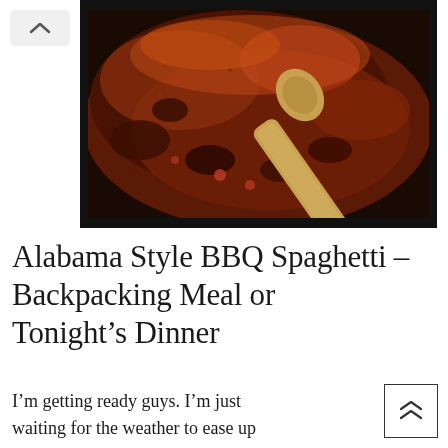[Figure (photo): Close-up photo of a dark pot containing rich, saucy BBQ meat mixture being stirred with a wooden spoon.]
Alabama Style BBQ Spaghetti – Backpacking Meal or Tonight's Dinner
I'm getting ready guys. I'm just waiting for the weather to ease up a bit (it was 83 here yesterday and